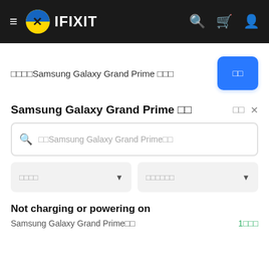≡ IFIXIT [navigation bar with search, cart, user icons]
□□□□Samsung Galaxy Grand Prime □□□ [blue button: □□]
Samsung Galaxy Grand Prime □□
□□Samsung Galaxy Grand Prime□□ [search input]
□□□□ [dropdown] □□□□□□ [dropdown]
Not charging or powering on
Samsung Galaxy Grand Prime□□   1□□□